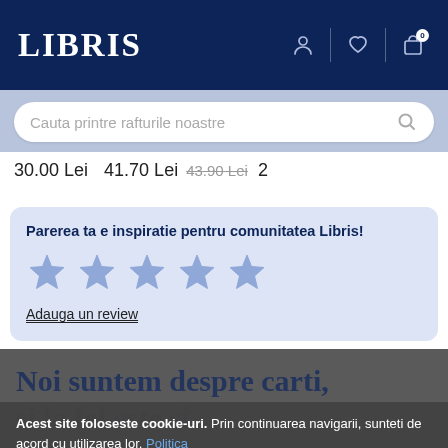LIBRIS
Cauta printre rafturile noastre
30.00 Lei   41.70 Lei  43.90 Lei  2
Parerea ta e inspiratie pentru comunitatea Libris!
Adauga un review
Acest site foloseste cookie-uri. Prin continuarea navigarii, sunteti de acord cu utilizarea lor. Politica Cookie. Protectia Datelor.
Noi suntem despre carti, si la fel este si